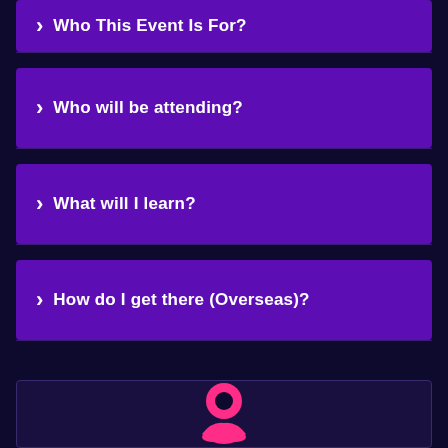> Who This Event Is For?
> Who will be attending?
> What will I learn?
> How do I get there (Overseas)?
[Figure (illustration): Pink location pin / person icon at the bottom of the page]